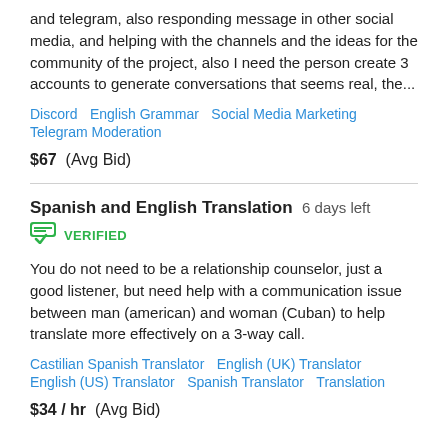and telegram, also responding message in other social media, and helping with the channels and the ideas for the community of the project, also I need the person create 3 accounts to generate conversations that seems real, the...
Discord   English Grammar   Social Media Marketing   Telegram Moderation
$67  (Avg Bid)
Spanish and English Translation  6 days left
VERIFIED
You do not need to be a relationship counselor, just a good listener, but need help with a communication issue between man (american) and woman (Cuban) to help translate more effectively on a 3-way call.
Castilian Spanish Translator   English (UK) Translator   English (US) Translator   Spanish Translator   Translation
$34 / hr  (Avg Bid)